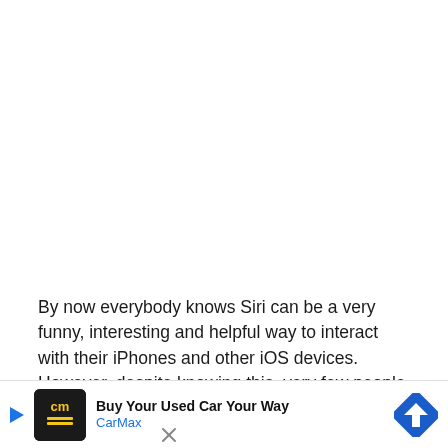By now everybody knows Siri can be a very funny, interesting and helpful way to interact with their iPhones and other iOS devices. However, despite knowing this, very few people actually use Siri to its full potential.
We've [faded/obscured text] se Siri in vario[us] [obscured text] s time though[t] [obscured text] ific
[Figure (other): CarMax advertisement banner: 'Buy Your Used Car Your Way' with CarMax logo and navigation icon]